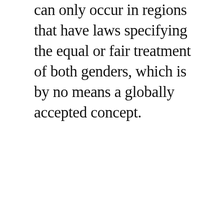can only occur in regions that have laws specifying the equal or fair treatment of both genders, which is by no means a globally accepted concept.